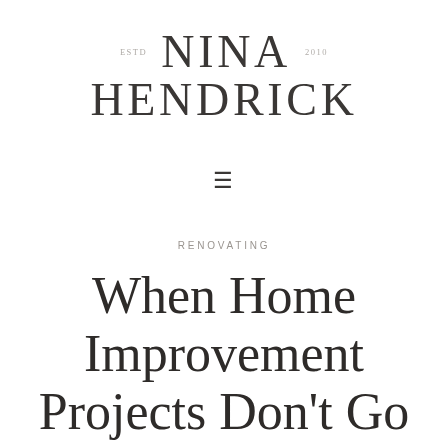NINA HENDRICK
[Figure (other): Hamburger menu icon (three horizontal lines)]
RENOVATING
When Home Improvement Projects Don't Go According to Plan